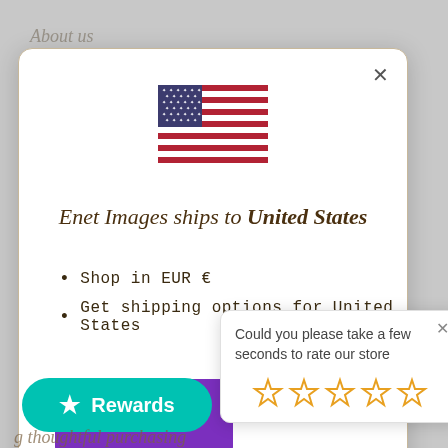About us
[Figure (illustration): American flag icon]
Enet Images ships to United States
Shop in EUR €
Get shipping options for United States
[Figure (illustration): Purple rectangular button]
Cha
Could you please take a few seconds to rate our store
[Figure (illustration): Five empty star rating icons]
Rewards
g thoughtful purchasing